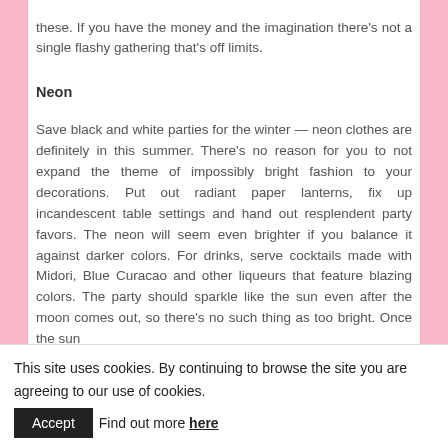these. If you have the money and the imagination there's not a single flashy gathering that's off limits.
Neon
Save black and white parties for the winter — neon clothes are definitely in this summer. There's no reason for you to not expand the theme of impossibly bright fashion to your decorations. Put out radiant paper lanterns, fix up incandescent table settings and hand out resplendent party favors. The neon will seem even brighter if you balance it against darker colors. For drinks, serve cocktails made with Midori, Blue Curacao and other liqueurs that feature blazing colors. The party should sparkle like the sun even after the moon comes out, so there's no such thing as too bright. Once the sun
This site uses cookies. By continuing to browse the site you are agreeing to our use of cookies. Accept Find out more here